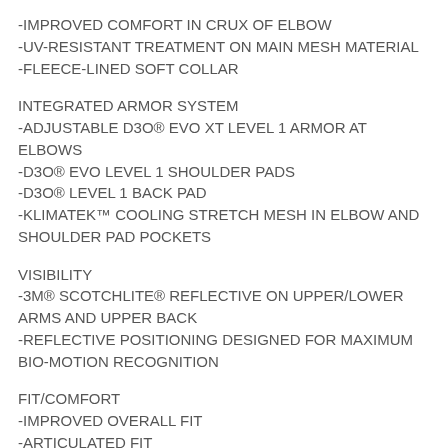-IMPROVED COMFORT IN CRUX OF ELBOW
-UV-RESISTANT TREATMENT ON MAIN MESH MATERIAL
-FLEECE-LINED SOFT COLLAR
INTEGRATED ARMOR SYSTEM
-ADJUSTABLE D3O® EVO XT LEVEL 1 ARMOR AT ELBOWS
-D3O® EVO LEVEL 1 SHOULDER PADS
-D3O® LEVEL 1 BACK PAD
-KLIMATEK™ COOLING STRETCH MESH IN ELBOW AND SHOULDER PAD POCKETS
VISIBILITY
-3M® SCOTCHLITE® REFLECTIVE ON UPPER/LOWER ARMS AND UPPER BACK
-REFLECTIVE POSITIONING DESIGNED FOR MAXIMUM BIO-MOTION RECOGNITION
FIT/COMFORT
-IMPROVED OVERALL FIT
-ARTICULATED FIT